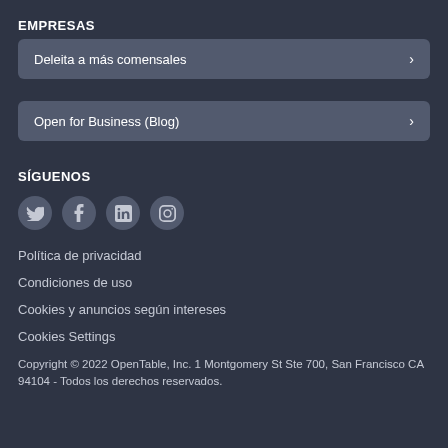EMPRESAS
Deleita a más comensales
Open for Business (Blog)
SÍGUENOS
[Figure (illustration): Social media icons: Twitter, Facebook, LinkedIn, Instagram]
Política de privacidad
Condiciones de uso
Cookies y anuncios según intereses
Cookies Settings
Copyright © 2022 OpenTable, Inc. 1 Montgomery St Ste 700, San Francisco CA 94104 - Todos los derechos reservados.